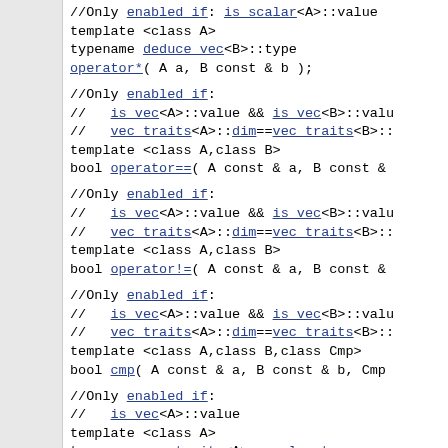//Only enabled if: is_scalar<A>::value
template <class A>
typename deduce_vec<B>::type
operator*( A a, B const & b );

//Only enabled if:
//   is_vec<A>::value && is_vec<B>::value
//   vec_traits<A>::dim==vec_traits<B>::dim
template <class A,class B>
bool operator==( A const & a, B const &

//Only enabled if:
//   is_vec<A>::value && is_vec<B>::value
//   vec_traits<A>::dim==vec_traits<B>::dim
template <class A,class B>
bool operator!=( A const & a, B const &

//Only enabled if:
//   is_vec<A>::value && is_vec<B>::value
//   vec_traits<A>::dim==vec_traits<B>::dim
template <class A,class B,class Cmp>
bool cmp( A const & a, B const & b, Cmp

//Only enabled if:
//   is_vec<A>::value
template <class A>
typename vec_traits<A>::scalar_type
mag_sqr( A const & a );

//Only enabled if: